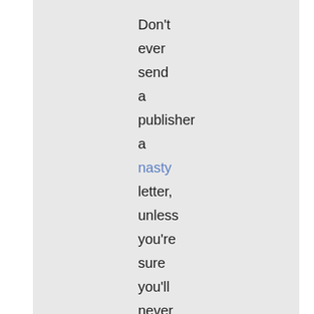Don't ever send a publisher a nasty letter, unless you're sure you'll never have to deal with the editor again (and in most cases, you can't be sure). Particularly don't send them